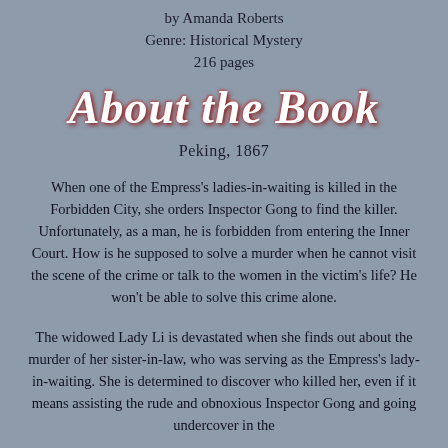by Amanda Roberts
Genre: Historical Mystery
216 pages
About the Book
Peking, 1867
When one of the Empress's ladies-in-waiting is killed in the Forbidden City, she orders Inspector Gong to find the killer. Unfortunately, as a man, he is forbidden from entering the Inner Court. How is he supposed to solve a murder when he cannot visit the scene of the crime or talk to the women in the victim's life? He won't be able to solve this crime alone.
The widowed Lady Li is devastated when she finds out about the murder of her sister-in-law, who was serving as the Empress's lady-in-waiting. She is determined to discover who killed her, even if it means assisting the rude and obnoxious Inspector Gong and going undercover in the